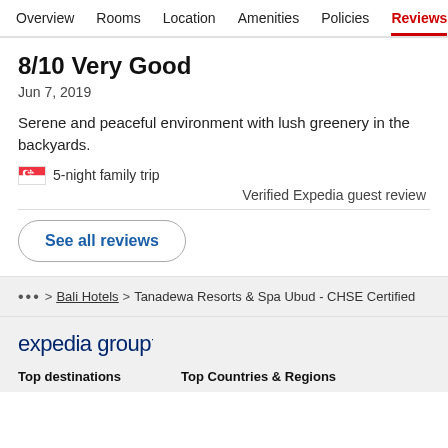Overview  Rooms  Location  Amenities  Policies  Reviews
8/10 Very Good
Jun 7, 2019
Serene and peaceful environment with lush greenery in the backyards.
🇸🇬 5-night family trip
Verified Expedia guest review
See all reviews
... > Bali Hotels > Tanadewa Resorts & Spa Ubud - CHSE Certified
expedia group
Top destinations
Top Countries & Regions